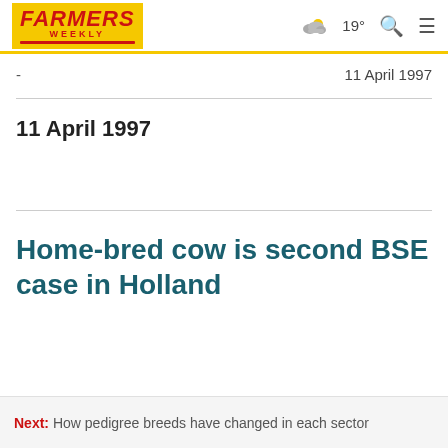FARMERS WEEKLY — 19° navigation header
- 11 April 1997
11 April 1997
Home-bred cow is second BSE case in Holland
Next: How pedigree breeds have changed in each sector